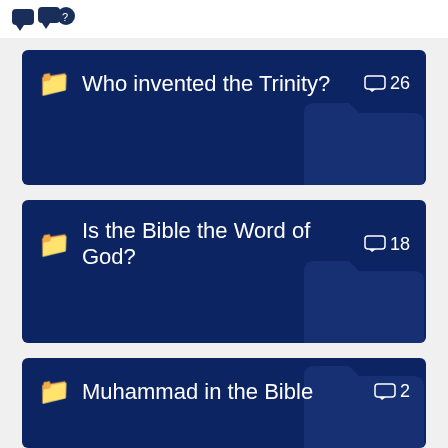[Figure (screenshot): Top bar with chat/message icons in dark navy blue]
Who invented the Trinity? 💬 26
Is the Bible the Word of God? 💬 18
Muhammad in the Bible 💬 2